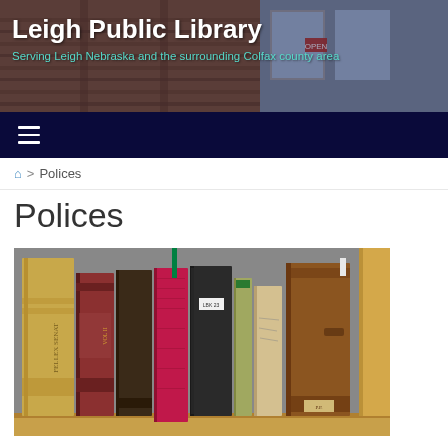Leigh Public Library
Serving Leigh Nebraska and the surrounding Colfax county area
[Figure (photo): Navigation bar with hamburger menu icon on dark navy background]
🏠 > Polices
Polices
[Figure (photo): Old vintage books standing upright on a wooden shelf, with various leather-bound volumes in brown, red, and dark colors]